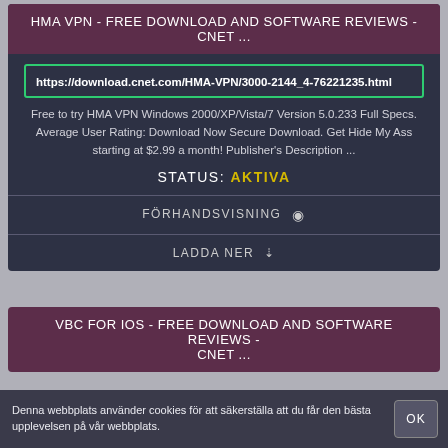HMA VPN - FREE DOWNLOAD AND SOFTWARE REVIEWS - CNET ...
https://download.cnet.com/HMA-VPN/3000-2144_4-76221235.html
Free to try HMA VPN Windows 2000/XP/Vista/7 Version 5.0.233 Full Specs. Average User Rating: Download Now Secure Download. Get Hide My Ass starting at $2.99 a month! Publisher's Description ...
STATUS: AKTIVA
FÖRHANDSVISNING
LADDA NER
VBC FOR IOS - FREE DOWNLOAD AND SOFTWARE REVIEWS - CNET ...
Denna webbplats använder cookies för att säkerställa att du får den bästa upplevelsen på vår webbplats.